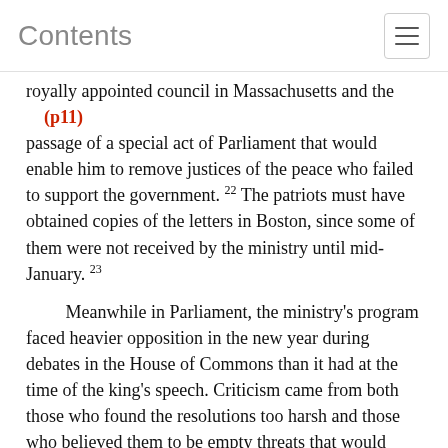Contents
royally appointed council in Massachusetts and the (p11) passage of a special act of Parliament that would enable him to remove justices of the peace who failed to support the government. 22 The patriots must have obtained copies of the letters in Boston, since some of them were not received by the ministry until mid-January. 23
Meanwhile in Parliament, the ministry's program faced heavier opposition in the new year during debates in the House of Commons than it had at the time of the king's speech. Criticism came from both those who found the resolutions too harsh and those who believed them to be empty threats that would accomplish no real change in colonial behavior, an opinion both Bernard and Hutchinson would come to share. 24 The debates in the House of Commons did, however, provide Bernard's enemies access to an even